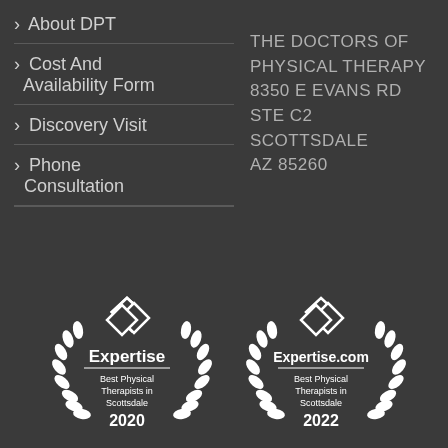> About DPT
> Cost And Availability Form
> Discovery Visit
> Phone Consultation
THE DOCTORS OF PHYSICAL THERAPY 8350 E EVANS RD STE C2 SCOTTSDALE AZ 85260
[Figure (logo): Expertise award badge 2020 - Best Physical Therapists in Scottsdale]
[Figure (logo): Expertise.com award badge 2022 - Best Physical Therapists in Scottsdale]